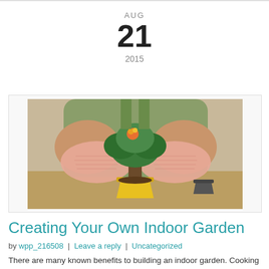AUG
21
2015
[Figure (photo): Person wearing pink knitted gloves holding a small bonsai-style plant with an orange flower in a yellow pot, with a small black pot nearby on a wooden surface.]
Creating Your Own Indoor Garden
by wpp_216508 | Leave a reply | Uncategorized
There are many known benefits to building an indoor garden. Cooking with freshly sprouted herbs can be a delight and